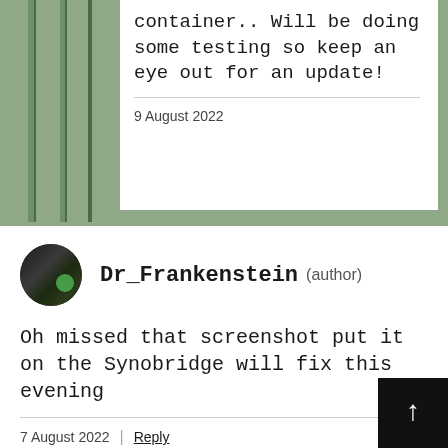container.. Will be doing some testing so keep an eye out for an update!
9 August 2022
Dr_Frankenstein (author)
Oh missed that screenshot put it on the Synobridge will fix this evening
7 August 2022 | Reply